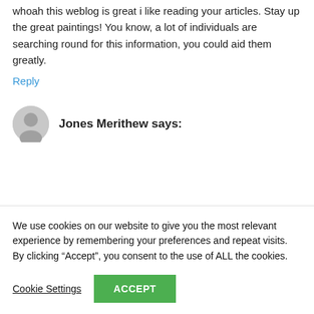whoah this weblog is great i like reading your articles. Stay up the great paintings! You know, a lot of individuals are searching round for this information, you could aid them greatly.
Reply
Jones Merithew says:
We use cookies on our website to give you the most relevant experience by remembering your preferences and repeat visits. By clicking "Accept", you consent to the use of ALL the cookies.
Cookie Settings
ACCEPT